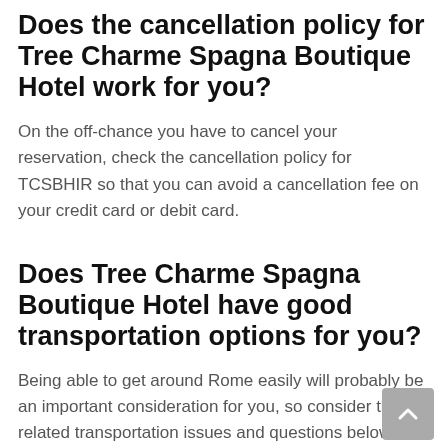Does the cancellation policy for Tree Charme Spagna Boutique Hotel work for you?
On the off-chance you have to cancel your reservation, check the cancellation policy for TCSBHIR so that you can avoid a cancellation fee on your credit card or debit card.
Does Tree Charme Spagna Boutique Hotel have good transportation options for you?
Being able to get around Rome easily will probably be an important consideration for you, so consider the related transportation issues and questions below, and see if TCSBHIR will sufficiently meet your needs.
Does Tree Charme Spagna Boutique